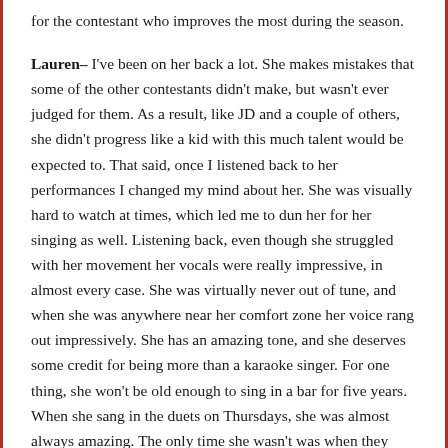for the contestant who improves the most during the season.
Lauren– I've been on her back a lot. She makes mistakes that some of the other contestants didn't make, but wasn't ever judged for them. As a result, like JD and a couple of others, she didn't progress like a kid with this much talent would be expected to. That said, once I listened back to her performances I changed my mind about her. She was visually hard to watch at times, which led me to dun her for her singing as well. Listening back, even though she struggled with her movement her vocals were really impressive, in almost every case. She was virtually never out of tune, and when she was anywhere near her comfort zone her voice rang out impressively. She has an amazing tone, and she deserves some credit for being more than a karaoke singer. For one thing, she won't be old enough to sing in a bar for five years. When she sang in the duets on Thursdays, she was almost always amazing. The only time she wasn't was when they matched her up with Scotty, who doesn't have nearly the vocal power that Lauren does. Her duet with Haley, "Gunpowder and Lead"; was one of the